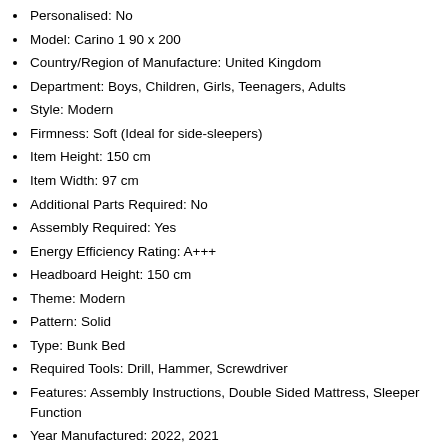Personalised: No
Model: Carino 1 90 x 200
Country/Region of Manufacture: United Kingdom
Department: Boys, Children, Girls, Teenagers, Adults
Style: Modern
Firmness: Soft (Ideal for side-sleepers)
Item Height: 150 cm
Item Width: 97 cm
Additional Parts Required: No
Assembly Required: Yes
Energy Efficiency Rating: A+++
Headboard Height: 150 cm
Theme: Modern
Pattern: Solid
Type: Bunk Bed
Required Tools: Drill, Hammer, Screwdriver
Features: Assembly Instructions, Double Sided Mattress, Sleeper Function
Year Manufactured: 2022, 2021
Compatible Mattress Size: 2 ft 6 in Small Single, 2 ft 6 in Small Single Extra Short, 3 ft Single
Finish: Matt
Mattress Type: Memory Foam